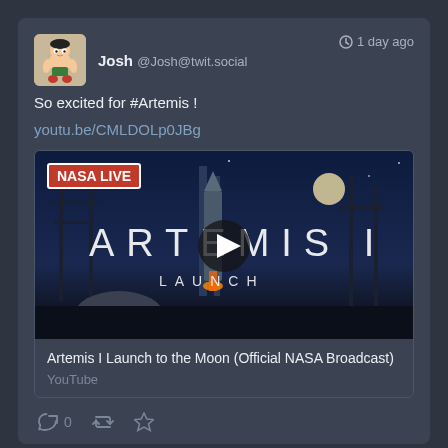[Figure (screenshot): Social media post from user Josh (@Josh@twit.social) posted 1 day ago. Post text: 'So excited for #Artemis !'. Link: youtu.be/CMLDOLp0JBg. Embedded YouTube video preview showing NASA LIVE Artemis I Launch thumbnail with play button. Video title: 'Artemis I Launch to the Moon (Official NASA Broadcast)'. Source: YouTube. Action bar with reply (0), retweet, and favorite icons.]